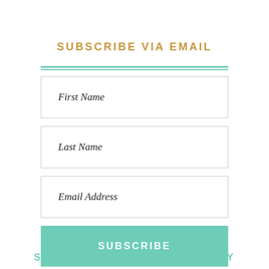SUBSCRIBE VIA EMAIL
First Name
Last Name
Email Address
SUBSCRIBE
STITCH ALONG WITH JO & JUDY